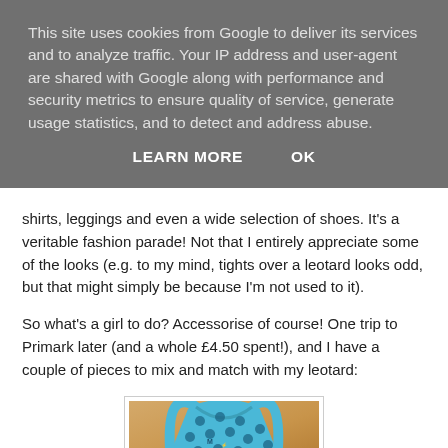This site uses cookies from Google to deliver its services and to analyze traffic. Your IP address and user-agent are shared with Google along with performance and security metrics to ensure quality of service, generate usage statistics, and to detect and address abuse.
LEARN MORE   OK
shirts, leggings and even a wide selection of shoes. It's a veritable fashion parade! Not that I entirely appreciate some of the looks (e.g. to my mind, tights over a leotard looks odd, but that might simply be because I'm not used to it).
So what's a girl to do? Accessorise of course! One trip to Primark later (and a whole £4.50 spent!), and I have a couple of pieces to mix and match with my leotard:
[Figure (photo): Photo of a blue racerback leotard with dark polka dots laid flat on a wooden surface]